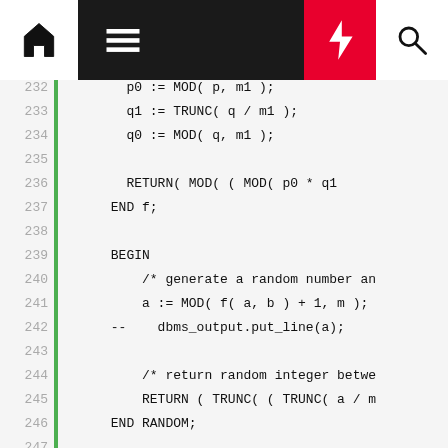[Figure (screenshot): Navigation bar with home icon, hamburger menu, lightning bolt (red), and search icon]
Code listing lines 232-255 showing PL/SQL code including MOD, TRUNC operations, RETURN, BEGIN block, function calls, and FUNCTION Get_Password definition